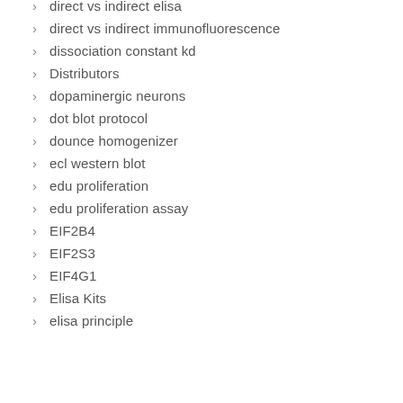direct vs indirect elisa
direct vs indirect immunofluorescence
dissociation constant kd
Distributors
dopaminergic neurons
dot blot protocol
dounce homogenizer
ecl western blot
edu proliferation
edu proliferation assay
EIF2B4
EIF2S3
EIF4G1
Elisa Kits
elisa principle